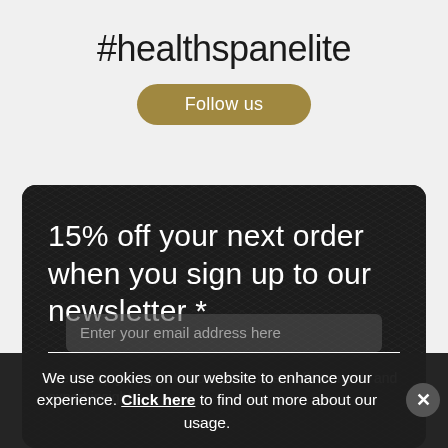#healthspanelite
Follow us
15% off your next order when you sign up to our newsletter *
We'll keep you updated on all the latest offers, news and expert insight.
Enter your email address here
We use cookies on our website to enhance your experience. Click here to find out more about our usage.